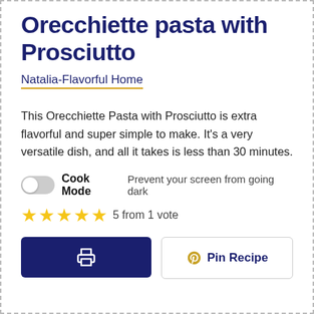Orecchiette pasta with Prosciutto
Natalia-Flavorful Home
This Orecchiette Pasta with Prosciutto is extra flavorful and super simple to make. It's a very versatile dish, and all it takes is less than 30 minutes.
Cook Mode  Prevent your screen from going dark
5 from 1 vote
Pin Recipe